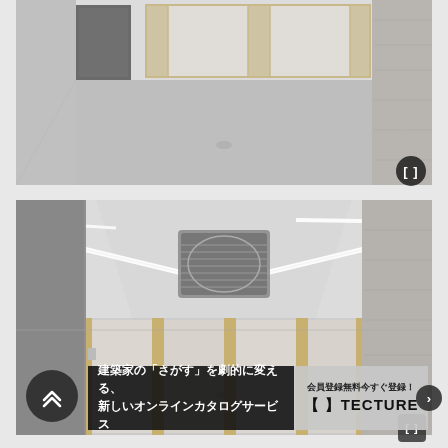[Figure (photo): Interior architectural photo showing a minimalist empty room with white polished floor, concrete wall on the right, frosted glass partition doors with wooden frames in the background, and dark door on the left. Bright, airy space shot from elevated angle.]
[Figure (photo): Interior architectural photo showing the same minimalist room from a lower angle, with ceiling view showing linear LED lights and a square ceiling-mounted air conditioning unit. Frosted glass sliding doors with wooden frames visible in background. Concrete wall on right side.]
建築家の「さがす」を劇的に変える、新しいオンラインカタログサービス
会員登録無料今すぐ登録！【 】TECTURE